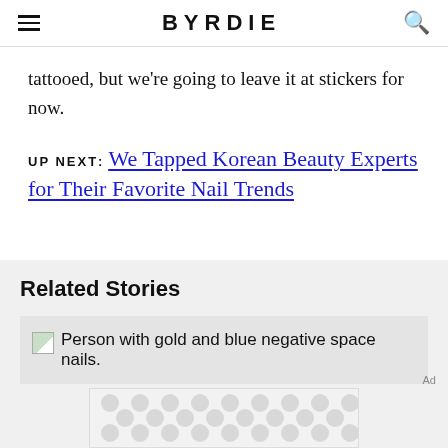BYRDIE
tattooed, but we're going to leave it at stickers for now.
UP NEXT: We Tapped Korean Beauty Experts for Their Favorite Nail Trends
Related Stories
[Figure (photo): Person with gold and blue negative space nails.]
Ad